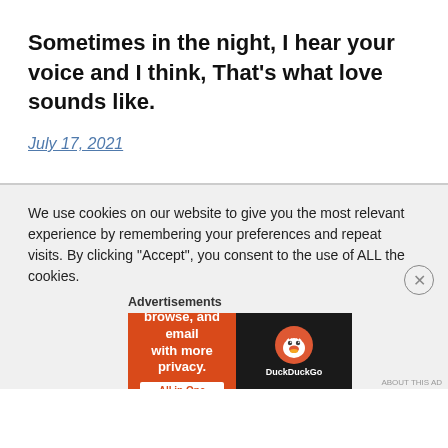Sometimes in the night, I hear your voice and I think, That’s what love sounds like.
July 17, 2021
We use cookies on our website to give you the most relevant experience by remembering your preferences and repeat visits. By clicking “Accept”, you consent to the use of ALL the cookies.
Advertisements
[Figure (other): DuckDuckGo advertisement banner: orange left panel reading 'Search, browse, and email with more privacy. All in One Free App' and dark right panel with DuckDuckGo duck logo and brand name.]